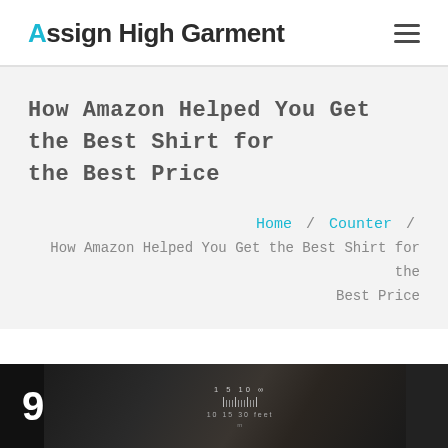Assign High Garment
How Amazon Helped You Get the Best Shirt for the Best Price
Home / Counter / How Amazon Helped You Get the Best Shirt for the Best Price
[Figure (photo): Dark background image showing a hand holding what appears to be a measuring device or ruler with numerical scale markings. Number '9' is visible on the left side in large white text.]